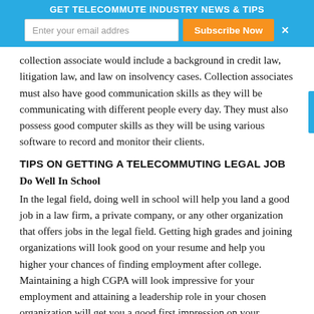GET TELECOMMUTE INDUSTRY NEWS & TIPS
collection associate would include a background in credit law, litigation law, and law on insolvency cases. Collection associates must also have good communication skills as they will be communicating with different people every day. They must also possess good computer skills as they will be using various software to record and monitor their clients.
TIPS ON GETTING A TELECOMMUTING LEGAL JOB
Do Well In School
In the legal field, doing well in school will help you land a good job in a law firm, a private company, or any other organization that offers jobs in the legal field. Getting high grades and joining organizations will look good on your resume and help you higher your chances of finding employment after college. Maintaining a high CGPA will look impressive for your employment and attaining a leadership role in your chosen organization will get you a good first impression on your